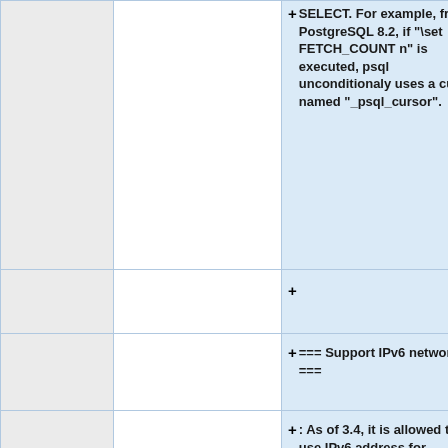|  |  | SELECT. For example, from PostgreSQL 8.2, if "\set FETCH_COUNT n" is executed, psql unconditionaly uses a curor named "_psql_cursor". |
|  |  | + |
|  |  | === Support IPv6 network === |
|  |  | : As of 3.4, it is allowed to use IPv6 address for PostgreSQL backend server and bind address of pgpool-II itself. |